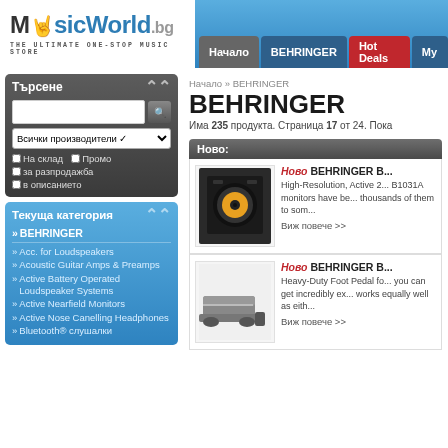[Figure (logo): MusicWorld.bg logo with hand/music icon]
THE ULTIMATE ONE-STOP MUSIC STORE
Начало | BEHRINGER | Hot Deals | My...
Начало » BEHRINGER
BEHRINGER
Има 235 продукта. Страница 17 от 24. Пока...
Ново:
Ново BEHRINGER B...
High-Resolution, Active 2... B1031A monitors have be... thousands of them to som...
Виж повече >>
Ново BEHRINGER B...
Heavy-Duty Foot Pedal fo... you can get incredibly ex... works equally well as eith...
Виж повече >>
Търсене
Всички производители
На склад | Промо | за разпродажба | в описанието
Текуща категория
» BEHRINGER
» Acc. for Loudspeakers
» Acoustic Guitar Amps & Preamps
» Active Battery Operated Loudspeaker Systems
» Active Nearfield Monitors
» Active Nose Canelling Headphones
» Bluetooth® слушалки